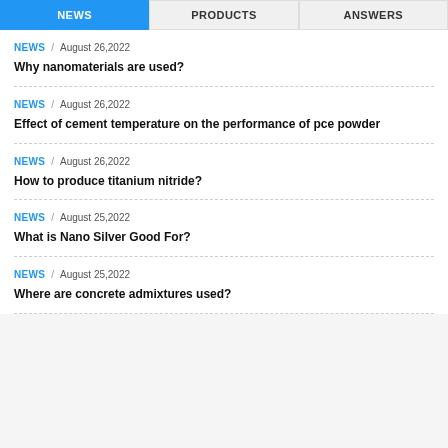NEWS | PRODUCTS | ANSWERS
NEWS / August 26,2022
Why nanomaterials are used?
NEWS / August 26,2022
Effect of cement temperature on the performance of pce powder
NEWS / August 26,2022
How to produce titanium nitride?
NEWS / August 25,2022
What is Nano Silver Good For?
NEWS / August 25,2022
Where are concrete admixtures used?